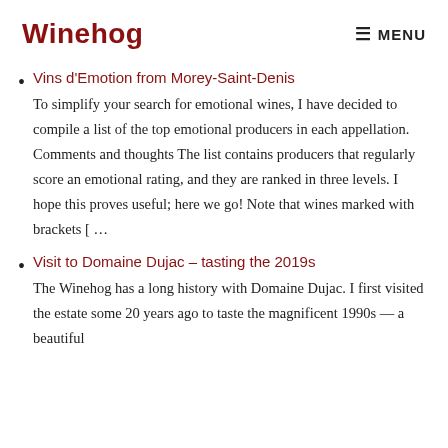Winehog | MENU
Vins d'Emotion from Morey-Saint-Denis
To simplify your search for emotional wines, I have decided to compile a list of the top emotional producers in each appellation. Comments and thoughts The list contains producers that regularly score an emotional rating, and they are ranked in three levels. I hope this proves useful; here we go! Note that wines marked with brackets [ …
Visit to Domaine Dujac – tasting the 2019s
The Winehog has a long history with Domaine Dujac. I first visited the estate some 20 years ago to taste the magnificent 1990s — a beautiful